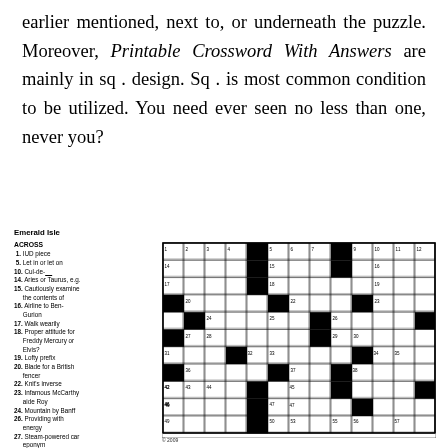earlier mentioned, next to, or underneath the puzzle. Moreover, Printable Crossword With Answers are mainly in sq . design. Sq . is most common condition to be utilized. You need ever seen no less than one, never you?
Emerald Isle
ACROSS
1. IUD piece
5. Let in or let on
10. Cul-de-___
14. Aries or Taurus, e.g.
15. Cautiously examine the contents of
16. Airline to Ben-Gurion
17. Walk wearily
18. Proper attitude for Freddy Mercury or Elvis?
19. Lofty prefix
20. Blade for a British fencer
22. Knit's inverse
23. Infamous McCarthy aide Roy
24. Mountain by Banff
26. Providing with energy
27. Steam-powered car eponym
29. They'll show you the world
31. ...
[Figure (other): Crossword puzzle grid titled Emerald Isle with numbered squares and black squares pattern. Copyright 2009.]